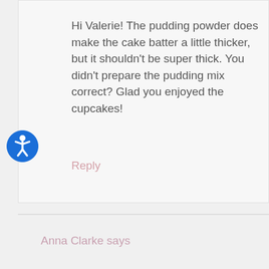Hi Valerie! The pudding powder does make the cake batter a little thicker, but it shouldn't be super thick. You didn't prepare the pudding mix correct? Glad you enjoyed the cupcakes!
Reply
[Figure (illustration): Blue circular accessibility icon with a person figure in white]
Anna Clarke says